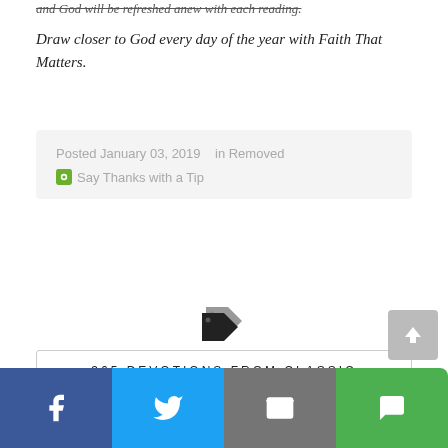and God will be refreshed anew with each reading.
Draw closer to God every day of the year with Faith That Matters.
Posted January 03, 2019   in Removed
Say Thanks with a Tip
[Figure (illustration): Double price tag icon in dark color]
365 DEVOTIONS FROM CLASSIC CHRISTIAN LEADERS
FAITH THAT MATTERS
HARPERONE
NON FICTION
[Figure (infographic): Social share buttons: Facebook (blue), Twitter (light blue), Email (gray), SMS (green)]